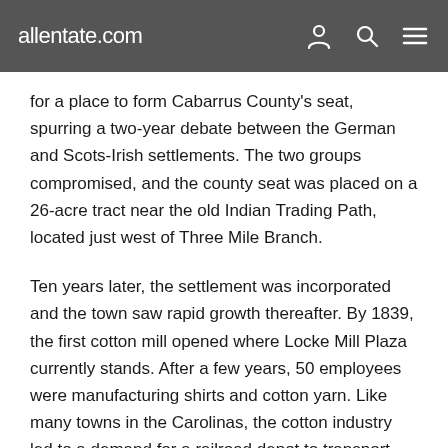allentate.com
for a place to form Cabarrus County's seat, spurring a two-year debate between the German and Scots-Irish settlements. The two groups compromised, and the county seat was placed on a 26-acre tract near the old Indian Trading Path, located just west of Three Mile Branch.
Ten years later, the settlement was incorporated and the town saw rapid growth thereafter. By 1839, the first cotton mill opened where Locke Mill Plaza currently stands. After a few years, 50 employees were manufacturing shirts and cotton yarn. Like many towns in the Carolinas, the cotton industry led to a demand for a railroad depot to transport goods in and out of town.
Approximate Distance to: